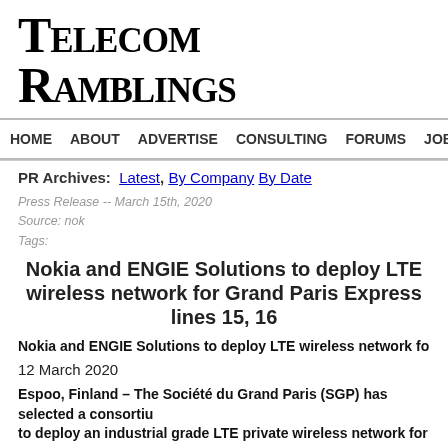Telecom Ramblings
HOME   ABOUT   ADVERTISE   CONSULTING   FORUMS   JOBS   CO
PR Archives: Latest, By Company By Date
Press Release -- March 15th, 2020
Source: nok
Tags:
Nokia and ENGIE Solutions to deploy LTE wireless network for Grand Paris Express lines 15, 16
Nokia and ENGIE Solutions to deploy LTE wireless network for Grand Pari
12 March 2020
Espoo, Finland – The Société du Grand Paris (SGP) has selected a consortium to deploy an industrial grade LTE private wireless network for new auto